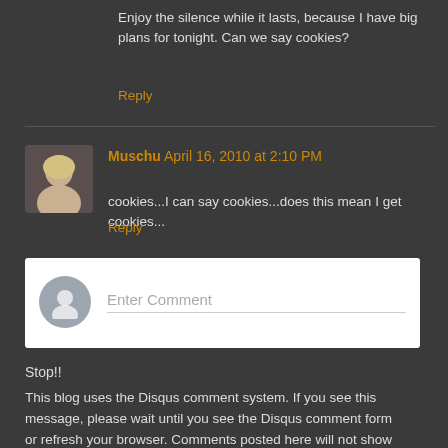Enjoy the silence while it lasts, because I have big plans for tonight. Can we say cookies?
Reply
Muschu  April 16, 2010 at 2:10 PM
cookies...I can say cookies...does this mean I get cookies...
Reply
[Figure (other): Comment input box with placeholder text 'Enter Comment' and a grey avatar icon]
Stop!!
This blog uses the Disqus comment system. If you see this message, please wait until you see the Disqus comment form or refresh your browser. Comments posted here will not show up on the blog.